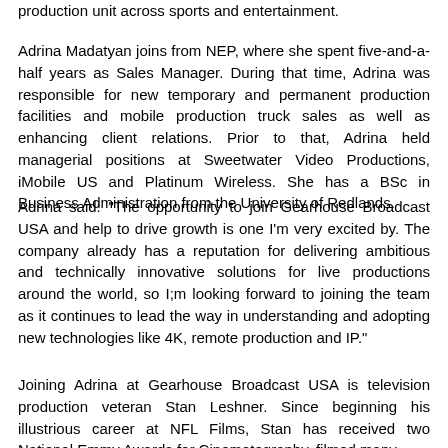production unit across sports and entertainment.
Adrina Madatyan joins from NEP, where she spent five-and-a-half years as Sales Manager. During that time, Adrina was responsible for new temporary and permanent production facilities and mobile production truck sales as well as enhancing client relations. Prior to that, Adrina held managerial positions at Sweetwater Video Productions, iMobile US and Platinum Wireless. She has a BSc in Business Administration from the University of Redlands.
Adrina said: "The opportunity to join Gearhouse Broadcast USA and help to drive growth is one I'm very excited by. The company already has a reputation for delivering ambitious and technically innovative solutions for live productions around the world, so I;m looking forward to joining the team as it continues to lead the way in understanding and adopting new technologies like 4K, remote production and IP."
Joining Adrina at Gearhouse Broadcast USA is television production veteran Stan Leshner. Since beginning his illustrious career at NFL Films, Stan has received two National Emmy Awards for Cinematography, filmed many